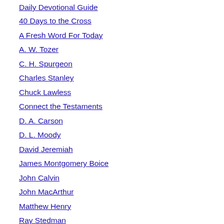Daily Devotional Guide
40 Days to the Cross
A Fresh Word For Today
A. W. Tozer
C. H. Spurgeon
Charles Stanley
Chuck Lawless
Connect the Testaments
D. A. Carson
D. L. Moody
David Jeremiah
James Montgomery Boice
John Calvin
John MacArthur
Matthew Henry
Ray Stedman
Streams in the Desert
The Poor Man's Portion
Thoughts for the quiet hour